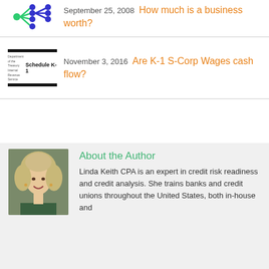September 25, 2008 How much is a business worth?
November 3, 2016 Are K-1 S-Corp Wages cash flow?
[Figure (illustration): Network graph icon with green and blue nodes]
[Figure (illustration): IRS Schedule K-1 document thumbnail with black bars]
About the Author
[Figure (photo): Photo of Linda Keith CPA, a woman with curly gray-blonde hair smiling]
Linda Keith CPA is an expert in credit risk readiness and credit analysis. She trains banks and credit unions throughout the United States, both in-house and